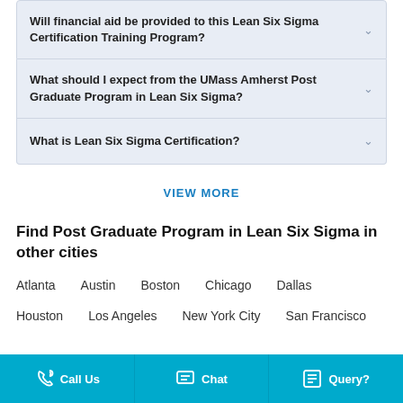Will financial aid be provided to this Lean Six Sigma Certification Training Program?
What should I expect from the UMass Amherst Post Graduate Program in Lean Six Sigma?
What is Lean Six Sigma Certification?
VIEW MORE
Find Post Graduate Program in Lean Six Sigma in other cities
Atlanta    Austin    Boston    Chicago    Dallas
Houston    Los Angeles    New York City    San Francisco
Call Us    Chat    Query?